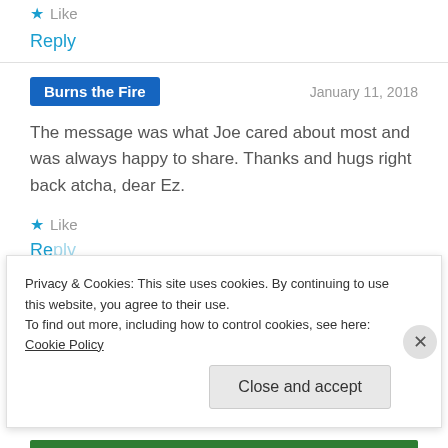★ Like
Reply
Burns the Fire — January 11, 2018
The message was what Joe cared about most and was always happy to share. Thanks and hugs right back atcha, dear Ez.
★ Like
Reply
Privacy & Cookies: This site uses cookies. By continuing to use this website, you agree to their use.
To find out more, including how to control cookies, see here: Cookie Policy
Close and accept